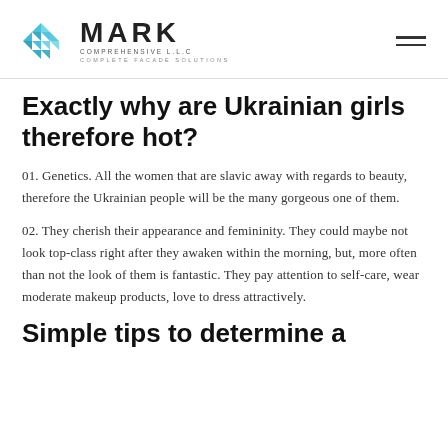MARK COMPREHENSIVE LLC — COMPLETE FACADE SOLUTIONS
Exactly why are Ukrainian girls therefore hot?
01. Genetics. All the women that are slavic away with regards to beauty, therefore the Ukrainian people will be the many gorgeous one of them.
02. They cherish their appearance and femininity. They could maybe not look top-class right after they awaken within the morning, but, more often than not the look of them is fantastic. They pay attention to self-care, wear moderate makeup products, love to dress attractively.
Simple tips to determine a